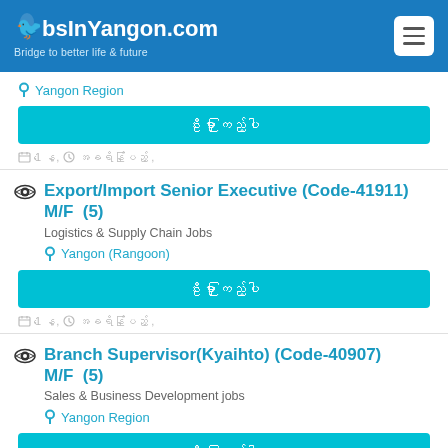JobsInYangon.com - Bridge to better life & future
Yangon Region
ဦးမှာ ကြည့်ပါ
1 နေ့, အခရိန်ပြည့် ,
Export/Import Senior Executive (Code-41911) M/F  (5)
Logistics & Supply Chain Jobs
Yangon (Rangoon)
ဦးမှာ ကြည့်ပါ
1 နေ့, အခရိန်ပြည့် ,
Branch Supervisor(Kyaihto) (Code-40907) M/F  (5)
Sales & Business Development jobs
Yangon Region
ဦးမှာ ကြည့်ပါ